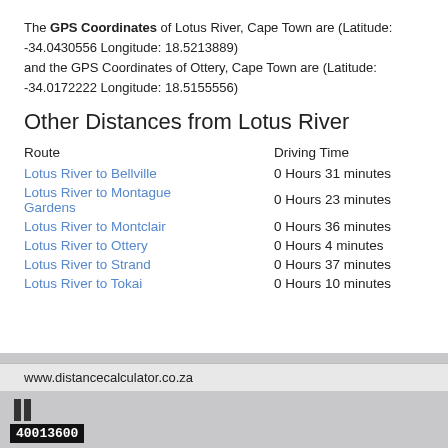The GPS Coordinates of Lotus River, Cape Town are (Latitude: -34.0430556 Longitude: 18.5213889) and the GPS Coordinates of Ottery, Cape Town are (Latitude: -34.0172222 Longitude: 18.5155556)
Other Distances from Lotus River
| Route | Driving Time |
| --- | --- |
| Lotus River to Bellville | 0 Hours 31 minutes |
| Lotus River to Montague Gardens | 0 Hours 23 minutes |
| Lotus River to Montclair | 0 Hours 36 minutes |
| Lotus River to Ottery | 0 Hours 4 minutes |
| Lotus River to Strand | 0 Hours 37 minutes |
| Lotus River to Tokai | 0 Hours 10 minutes |
www.distancecalculator.co.za
40013600